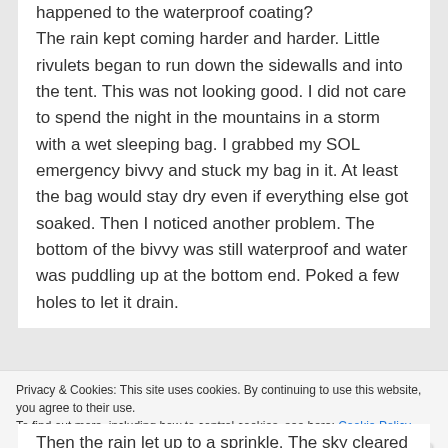happened to the waterproof coating?

The rain kept coming harder and harder. Little rivulets began to run down the sidewalls and into the tent. This was not looking good. I did not care to spend the night in the mountains in a storm with a wet sleeping bag. I grabbed my SOL emergency bivvy and stuck my bag in it. At least the bag would stay dry even if everything else got soaked. Then I noticed another problem. The bottom of the bivvy was still waterproof and water was puddling up at the bottom end. Poked a few holes to let it drain.
Privacy & Cookies: This site uses cookies. By continuing to use this website, you agree to their use.
To find out more, including how to control cookies, see here: Cookie Policy
Then the rain let up to a sprinkle. The sky cleared a